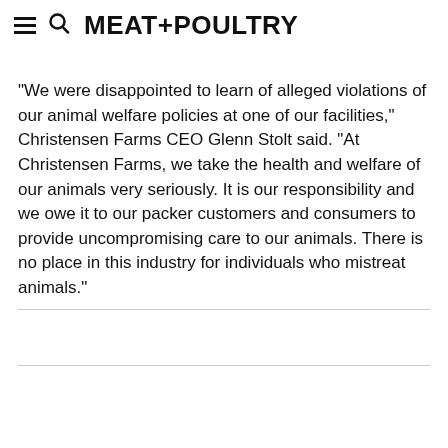MEAT+POULTRY
"We were disappointed to learn of alleged violations of our animal welfare policies at one of our facilities," Christensen Farms CEO Glenn Stolt said. "At Christensen Farms, we take the health and welfare of our animals very seriously. It is our responsibility and we owe it to our packer customers and consumers to provide uncompromising care to our animals. There is no place in this industry for individuals who mistreat animals."